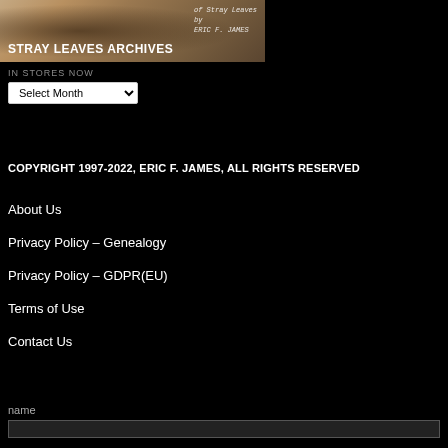[Figure (photo): Sepia-toned header image showing a figure with handwritten text 'of Stray Leaves by ERIC F. JAMES' overlaid, with site title 'STRAY LEAVES ARCHIVES' at bottom left]
IN STORES NOW
Select Month
COPYRIGHT 1997-2022, ERIC F. JAMES, ALL RIGHTS RESERVED
About Us
Privacy Policy – Genealogy
Privacy Policy – GDPR(EU)
Terms of Use
Contact Us
name